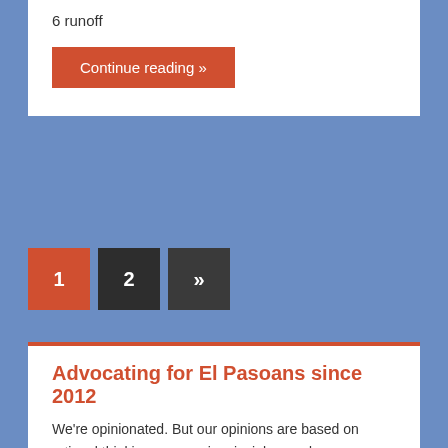6 runoff
Continue reading »
1  2  »
Advocating for El Pasoans since 2012
We're opinionated. But our opinions are based on rational thinking, economic principles, and common sense. Please support reason. Kick in for the cause.
Donate